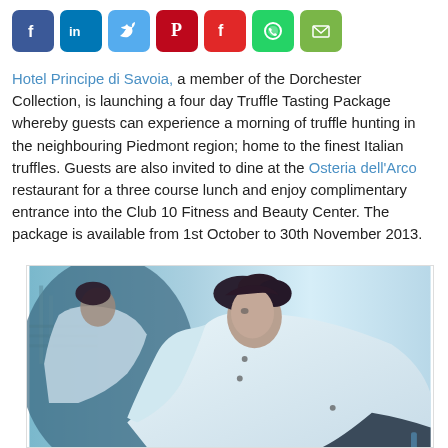[Figure (other): Social media share buttons: Facebook, LinkedIn, Twitter, Pinterest, Flipboard, WhatsApp, Email]
Hotel Principe di Savoia, a member of the Dorchester Collection, is launching a four day Truffle Tasting Package whereby guests can experience a morning of truffle hunting in the neighbouring Piedmont region; home to the finest Italian truffles. Guests are also invited to dine at the Osteria dell'Arco restaurant for a three course lunch and enjoy complimentary entrance into the Club 10 Fitness and Beauty Center. The package is available from 1st October to 30th November 2013.
[Figure (photo): A chef in a white jacket leaning over, working in a kitchen, with a blue-tinted color palette]